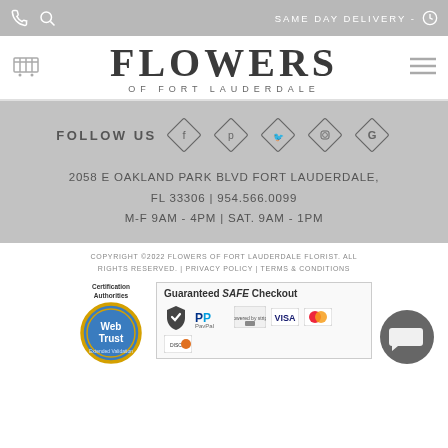SAME DAY DELIVERY -
FLOWERS OF FORT LAUDERDALE
FOLLOW US
2058 E OAKLAND PARK BLVD FORT LAUDERDALE, FL 33306 | 954.566.0099
M-F 9AM - 4PM | SAT. 9AM - 1PM
COPYRIGHT ©2022 FLOWERS OF FORT LAUDERDALE FLORIST. ALL RIGHTS RESERVED. | PRIVACY POLICY | TERMS & CONDITIONS
[Figure (logo): WebTrust Certification Authorities badge with golden circle and WebTrust text]
[Figure (infographic): Guaranteed SAFE Checkout box with security checkmark, PayPal, Stripe, Visa, MasterCard, Discover payment icons]
[Figure (illustration): Gray chat bubble icon on dark gray circle background]